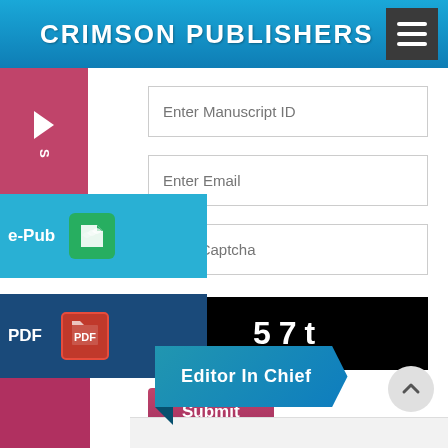CRIMSON PUBLISHERS
[Figure (screenshot): Web form with input fields for Manuscript ID, Email, Captcha (showing '57t'), and a Submit button]
[Figure (infographic): Left sidebar with e-Pub and PDF download buttons with icons]
[Figure (infographic): Editor In Chief ribbon/banner button in teal/blue]